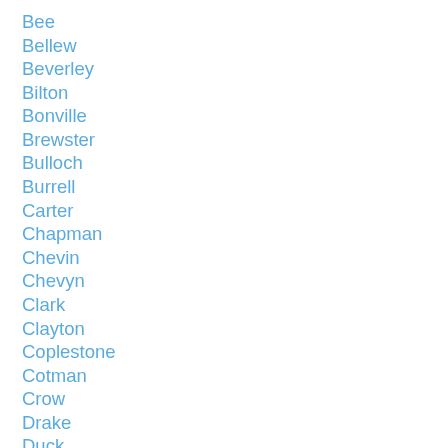Bee
Bellew
Beverley
Bilton
Bonville
Brewster
Bulloch
Burrell
Carter
Chapman
Chevin
Chevyn
Clark
Clayton
Coplestone
Cotman
Crow
Drake
Duck
Elliott